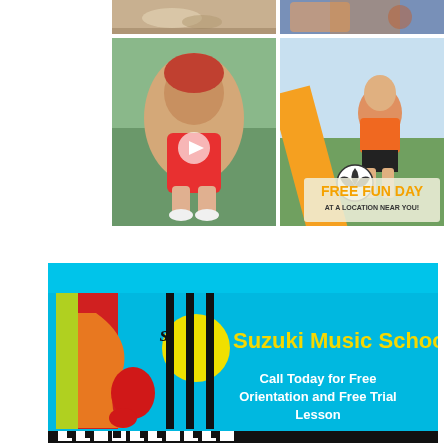[Figure (photo): Top-left photo of food/tableware on a wooden surface]
[Figure (photo): Top-right photo of person in colorful shirt outdoors]
[Figure (photo): Middle-left photo of a young girl with red hair in a red dress sitting outdoors, with a video play button overlay]
[Figure (photo): Middle-right photo of a young girl in orange shirt sitting on grass with soccer ball, with FREE FUN DAY AT A LOCATION NEAR YOU! text overlay]
[Figure (illustration): Advertisement for Suzuki Music School with colorful music-themed logo on blue background. Text: Suzuki Music School — Call Today for Free Orientation and Free Trial Lesson]